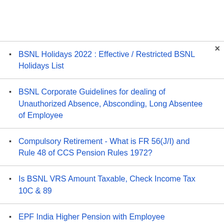BSNL Holidays 2022 : Effective / Restricted BSNL Holidays List
BSNL Corporate Guidelines for dealing of Unauthorized Absence, Absconding, Long Absentee of Employee
Compulsory Retirement - What is FR 56(J/I) and Rule 48 of CCS Pension Rules 1972?
Is BSNL VRS Amount Taxable, Check Income Tax 10C & 89
EPF India Higher Pension with Employee